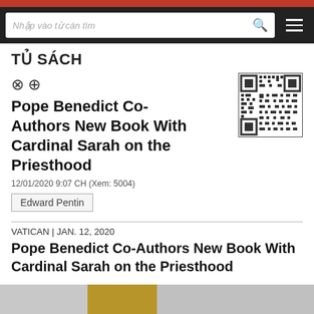TỦ SÁCH
[Figure (other): QR code for the article]
Pope Benedict Co-Authors New Book With Cardinal Sarah on the Priesthood
12/01/2020  9:07 CH  (Xem: 5004)
Edward Pentin
VATICAN |  JAN. 12, 2020
Pope Benedict Co-Authors New Book With Cardinal Sarah on the Priesthood
[Figure (photo): Partial photo of Pope Benedict and Cardinal Sarah, partially visible at the bottom of the page]